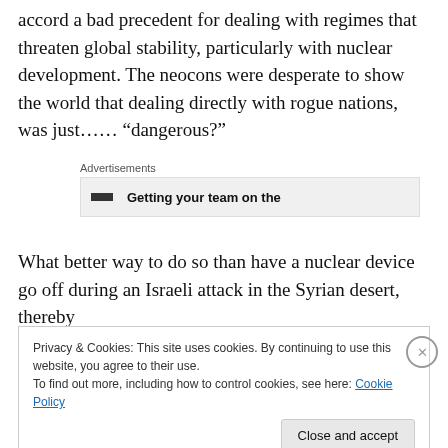accord a bad precedent for dealing with regimes that threaten global stability, particularly with nuclear development. The neocons were desperate to show the world that dealing directly with rogue nations, was just…… "dangerous?"
[Figure (other): Advertisement block showing 'Getting your team on the' with small dark icon]
What better way to do so than have a nuclear device go off during an Israeli attack in the Syrian desert, thereby
Privacy & Cookies: This site uses cookies. By continuing to use this website, you agree to their use.
To find out more, including how to control cookies, see here: Cookie Policy
[Close and accept button]